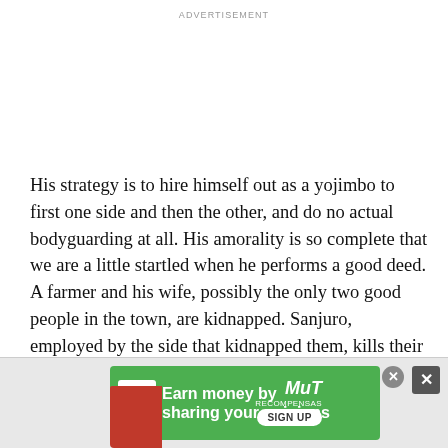ADVERTISEMENT
His strategy is to hire himself out as a yojimbo to first one side and then the other, and do no actual bodyguarding at all. His amorality is so complete that we are a little startled when he performs a good deed. A farmer and his wife, possibly the only two good people in the town, are kidnapped. Sanjuro, employed by the side that kidnapped them, kills their six guards, frees them, tears up a house to make it look like there was a fierce struggle, and blames it on the other side. Disloyal to his employer? Yes, but early in the film, he is offered 50 ryo by one of the leaders, only to overhear the man's wife telling him, "We'd save the whole 50 ryo if we killed him after he wins."
[Figure (infographic): Advertisement banner: green background with Amazon icon, text 'Earn money by sharing your opinions', MuT Recompensas logo, and SIGN UP button]